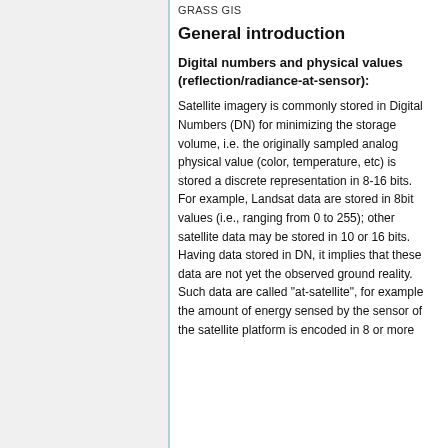GRASS GIS
General introduction
Digital numbers and physical values (reflection/radiance-at-sensor):
Satellite imagery is commonly stored in Digital Numbers (DN) for minimizing the storage volume, i.e. the originally sampled analog physical value (color, temperature, etc) is stored a discrete representation in 8-16 bits. For example, Landsat data are stored in 8bit values (i.e., ranging from 0 to 255); other satellite data may be stored in 10 or 16 bits. Having data stored in DN, it implies that these data are not yet the observed ground reality. Such data are called "at-satellite", for example the amount of energy sensed by the sensor of the satellite platform is encoded in 8 or more